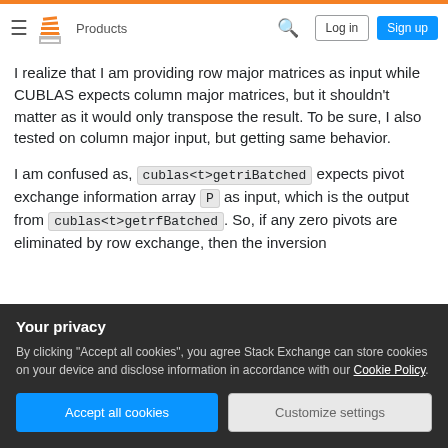Stack Exchange — Products | Log in | Sign up
I realize that I am providing row major matrices as input while CUBLAS expects column major matrices, but it shouldn't matter as it would only transpose the result. To be sure, I also tested on column major input, but getting same behavior.
I am confused as, cublas<t>getriBatched expects pivot exchange information array P as input, which is the output from cublas<t>getrfBatched. So, if any zero pivots are eliminated by row exchange, then the inversion
Your privacy
By clicking "Accept all cookies", you agree Stack Exchange can store cookies on your device and disclose information in accordance with our Cookie Policy.
Accept all cookies | Customize settings